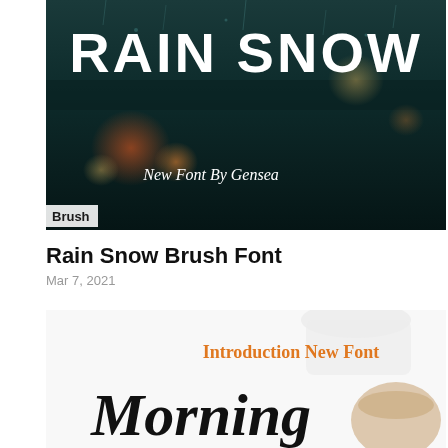[Figure (photo): Rain Snow Brush Font promotional image showing text 'RAIN SNOW' in white brush lettering over a rainy window background with bokeh lights. Subtitle reads 'New Font By Gensea'. A 'Brush' label tag sits in the bottom-left corner.]
Rain Snow Brush Font
Mar 7, 2021
[Figure (photo): Morning font promotional image showing 'Introduction New Font' in orange text and 'Morning' in large black script font, with a coffee cup on a white background.]